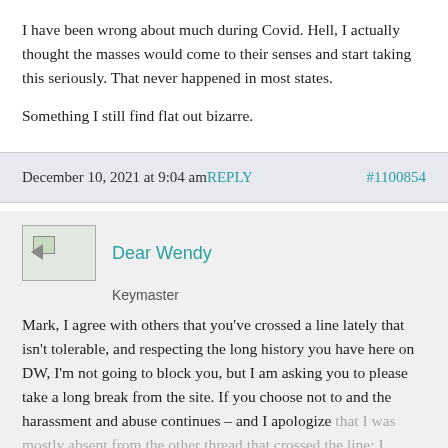I have been wrong about much during Covid. Hell, I actually thought the masses would come to their senses and start taking this seriously. That never happened in most states.
Something I still find flat out bizarre.
December 10, 2021 at 9:04 amREPLY   #1100854
Dear Wendy
Keymaster
Mark, I agree with others that you've crossed a line lately that isn't tolerable, and respecting the long history you have here on DW, I'm not going to block you, but I am asking you to please take a long break from the site. If you choose not to and the harassment and abuse continues – and I apologize that I was mostly absent from the other thread that crossed the line; I missed some of what people are referencing – then I'll take more appropriate measures. In other words, f***